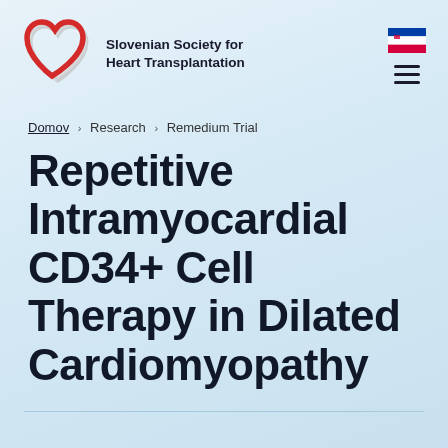Slovenian Society for Heart Transplantation
Domov › Research › Remedium Trial
Repetitive Intramyocardial CD34+ Cell Therapy in Dilated Cardiomyopathy